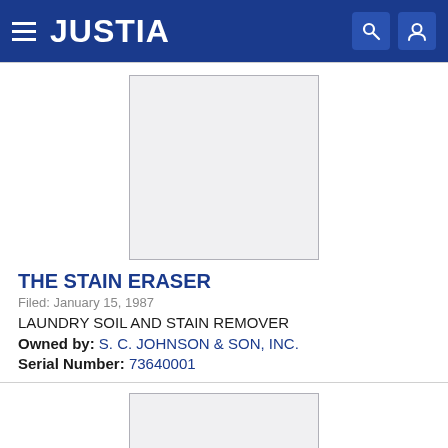JUSTIA
[Figure (other): Trademark image placeholder — blank light gray rectangle with border]
THE STAIN ERASER
Filed: January 15, 1987
LAUNDRY SOIL AND STAIN REMOVER
Owned by: S. C. JOHNSON & SON, INC.
Serial Number: 73640001
[Figure (other): Second trademark image placeholder — blank light gray rectangle with border (partially visible)]